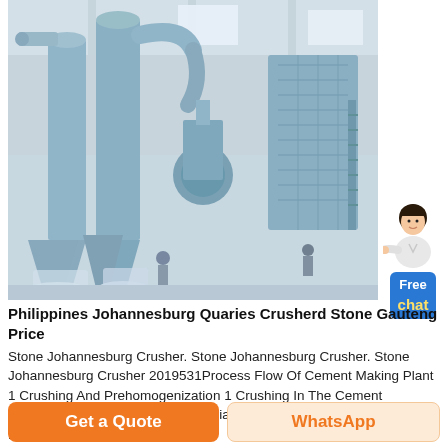[Figure (photo): Industrial stone crushing and milling machinery in a large warehouse. Light blue colored heavy industrial equipment with cyclone separators, hoppers, pipes and multi-story grinding mill structures. Workers visible in background.]
[Figure (illustration): Chat widget: female avatar in white blazer pointing left, with a blue button reading 'Free chat' in white and yellow text.]
Philippines Johannesburg Quaries Crusherd Stone Gauteng Price
Stone Johannesburg Crusher. Stone Johannesburg Crusher. Stone Johannesburg Crusher 2019531Process Flow Of Cement Making Plant 1 Crushing And Prehomogenization 1 Crushing In The Cement Production Most Of The Raw Materials Need Crushing Such As Limestone Claystone C...
Get a Quote
WhatsApp